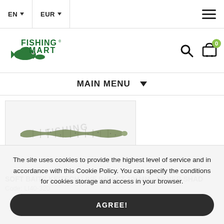EN   EUR   [hamburger menu]
[Figure (logo): Fishing Mart logo with fish illustration and green text]
MAIN MENU
[Figure (photo): Soft bait fishing lure - Keitech Live Impact 101mm Silver Shad, a greenish ribbed worm lure on white background]
SOFT BAITS KEITECH LIVE IMPACT 101MM - SILVER SHAD
Code: LI40-320
The site uses cookies to provide the highest level of service and in accordance with this Cookie Policy. You can specify the conditions for cookies storage and access in your browser.
AGREE!